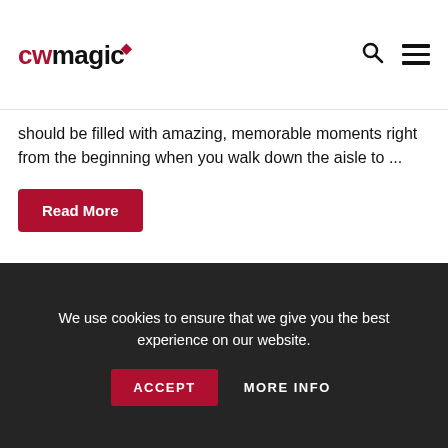cwmagic
should be filled with amazing, memorable moments right from the beginning when you walk down the aisle to ...
Read More
We use cookies to ensure that we give you the best experience on our website.
ACCEPT  MORE INFO